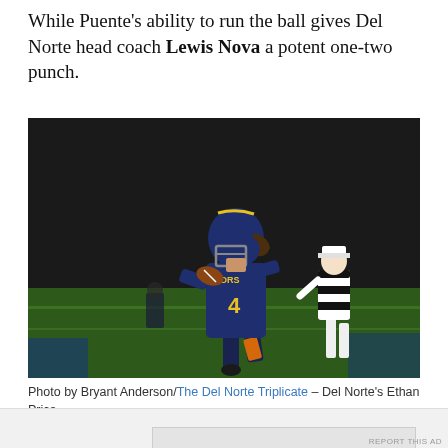While Puente’s ability to run the ball gives Del Norte head coach Lewis Nova a potent one-two punch.
[Figure (photo): Football player wearing navy Warriors jersey number 4 running with the ball on a lit field at night, with a referee in black and white stripes visible in the background.]
Photo by Bryant Anderson/The Del Norte Triplicate – Del Norte’s Ethan Price.
Advertisements